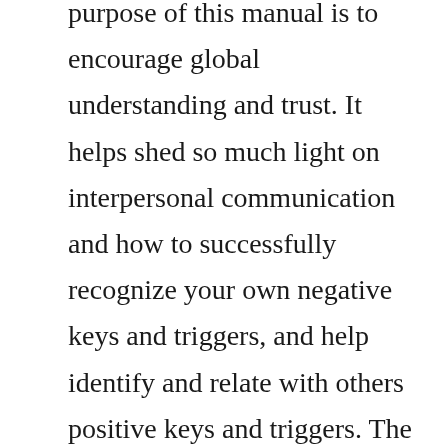purpose of this manual is to encourage global understanding and trust. It helps shed so much light on interpersonal communication and how to successfully recognize your own negative keys and triggers, and help identify and relate with others positive keys and triggers. The leaders guide to corporate culture changing your organizations culture can improve its performance. In recent years, professional services providers have had to rethink their sales methods and adapt to profound changes in the way clients buy services. They need opportunities to do new